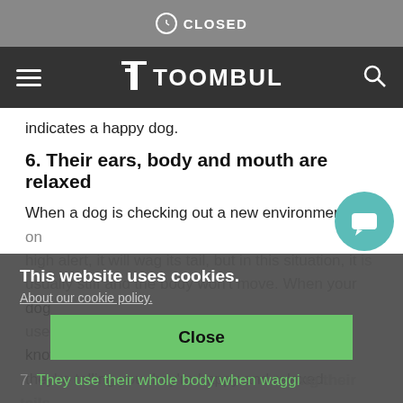CLOSED
[Figure (screenshot): Toombul website navigation bar with hamburger menu, Toombul logo, and search icon on dark background]
indicates a happy dog.
6. Their ears, body and mouth are relaxed
When a dog is checking out a new environment, or on high alert, it will wag its tail, but in this situation, it is usually stiff and the body won't move. When your dog uses their whole body to wag their tail, then you know they're telling you they're happy and relaxed.
This website uses cookies.
About our cookie policy.
Close
7. They use their whole body when wagging their tails